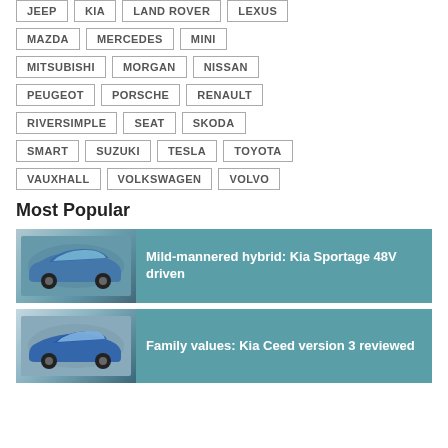JEEP
KIA
LAND ROVER
LEXUS
MAZDA
MERCEDES
MINI
MITSUBISHI
MORGAN
NISSAN
PEUGEOT
PORSCHE
RENAULT
RIVERSIMPLE
SEAT
SKODA
SMART
SUZUKI
TESLA
TOYOTA
VAUXHALL
VOLKSWAGEN
VOLVO
Most Popular
[Figure (photo): Blue Kia Sportage SUV parked outdoors, side/front view]
Mild-mannered hybrid: Kia Sportage 48V driven
[Figure (photo): Blue Kia Ceed hatchback parked outdoors, front/side view]
Family values: Kia Ceed version 3 reviewed